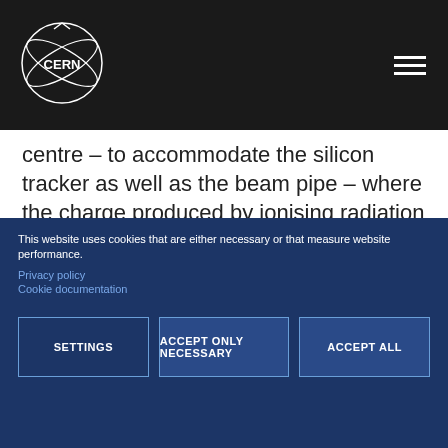[Figure (logo): CERN logo in white on dark background, top left]
centre – to accommodate the silicon tracker as well as the beam pipe – where the charge produced by ionising radiation is projected onto detectors arranged in the two endplates. These detectors used to be multi-wire proportional chambers, 72 in total, which have now been replaced by detectors based on Gas Electron Multipliers (GEM), a micro-pattern structure developed at CERN. These new devices, together with new readout electronics that feature a continuous readout mode, will allow ALICE to record the information of all tracks produced in lead–lead collisions at rates of 50 kHz, producing
This website uses cookies that are either necessary or that measure website performance.
Privacy policy
Cookie documentation
SETTINGS
ACCEPT ONLY NECESSARY
ACCEPT ALL